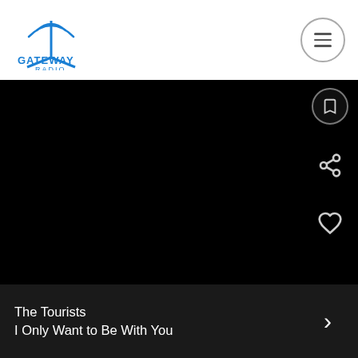[Figure (logo): Gateway Radio logo — stylized blue transmitter tower lines above text GATEWAY RADIO in blue]
[Figure (screenshot): Mobile radio app interface showing black main content area with share and heart icons on the right side, and a now-playing bar at the bottom showing The Tourists - I Only Want to Be With You]
The Tourists
I Only Want to Be With You